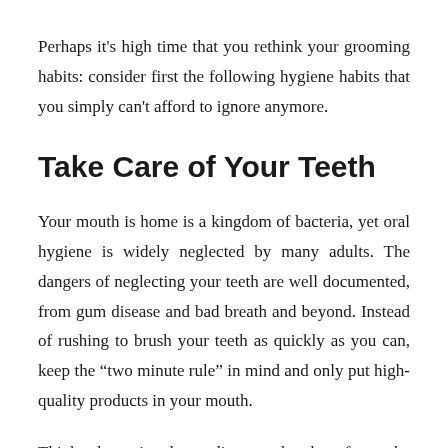Perhaps it's high time that you rethink your grooming habits: consider first the following hygiene habits that you simply can't afford to ignore anymore.
Take Care of Your Teeth
Your mouth is home is a kingdom of bacteria, yet oral hygiene is widely neglected by many adults. The dangers of neglecting your teeth are well documented, from gum disease and bad breath and beyond. Instead of rushing to brush your teeth as quickly as you can, keep the “two minute rule” in mind and only put high-quality products in your mouth.
Think about it: those discount brushes from the drugstore